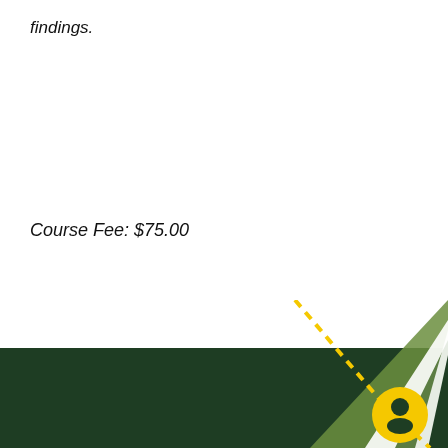findings.
Course Fee: $75.00
[Figure (infographic): Page footer with dark green background, yellow dashed diagonal line, decorative green diagonal stripe shapes in bottom-right corner, and a yellow circle with a person/head icon. Also a horizontal rule divider and four icon buttons (star, share, printer, question mark).]